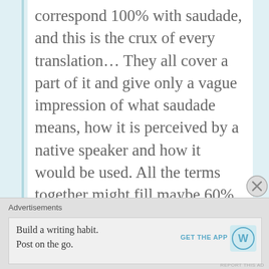correspond 100% with saudade, and this is the crux of every translation… They all cover a part of it and give only a vague impression of what saudade means, how it is perceived by a native speaker and how it would be used. All the terms together might fill maybe 60% of the semantic field of saudade (this is only my very superficial guess), as for the 40% I suppose that only native speakers can understand the term in its full meaning.
Like
REPLY
Advertisements
Build a writing habit. Post on the go.
GET THE APP